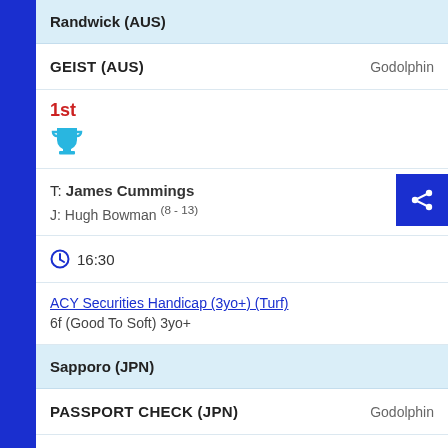Randwick (AUS)
GEIST (AUS)   Godolphin
1st
T: James Cummings
J: Hugh Bowman (8 - 13)
16:30
ACY Securities Handicap (3yo+) (Turf)
6f (Good To Soft) 3yo+
Sapporo (JPN)
PASSPORT CHECK (JPN)   Godolphin
2nd